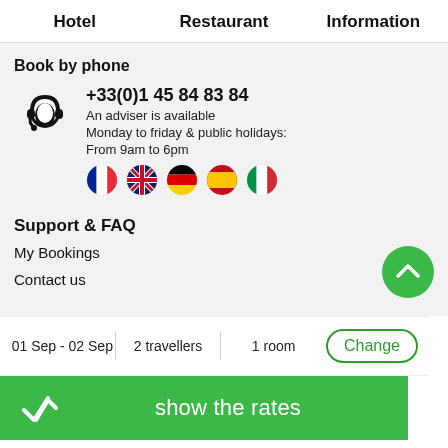Hotel   Restaurant   Information
Book by phone
+33(0)1 45 84 83 84
An adviser is available
Monday to friday & public holidays:
From 9am to 6pm
[Figure (illustration): Five country flag circles: French, UK, German, Spanish, Italian]
Support & FAQ
My Bookings
Contact us
01 Sep - 02 Sep   2 travellers   1 room   Change
show the rates